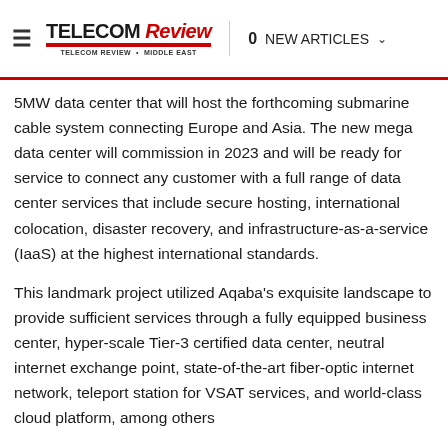≡  TELECOM Review  |  0 NEW ARTICLES
5MW data center that will host the forthcoming submarine cable system connecting Europe and Asia. The new mega data center will commission in 2023 and will be ready for service to connect any customer with a full range of data center services that include secure hosting, international colocation, disaster recovery, and infrastructure-as-a-service (IaaS) at the highest international standards.
This landmark project utilized Aqaba's exquisite landscape to provide sufficient services through a fully equipped business center, hyper-scale Tier-3 certified data center, neutral internet exchange point, state-of-the-art fiber-optic internet network, teleport station for VSAT services, and world-class cloud platform, among others